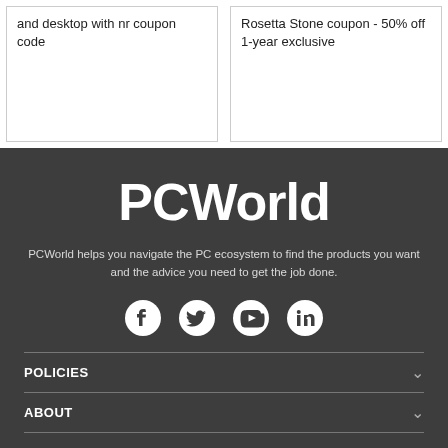and desktop with nr coupon code
Rosetta Stone coupon - 50% off 1-year exclusive
[Figure (logo): PCWorld logo in white bold text on dark gray background]
PCWorld helps you navigate the PC ecosystem to find the products you want and the advice you need to get the job done.
[Figure (infographic): Social media icons: Facebook, Twitter, YouTube, LinkedIn in white on dark gray]
POLICIES
ABOUT